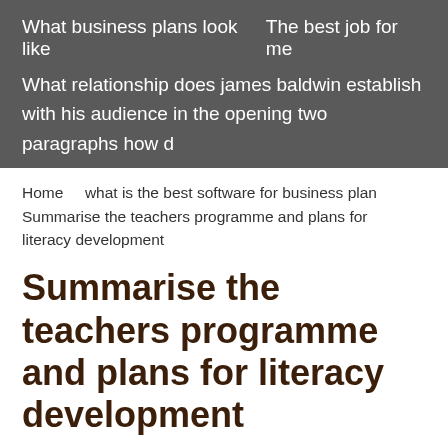What business plans look like    The best job for me
What relationship does james baldwin establish with his audience in the opening two paragraphs how d
Home    what is the best software for business plan Summarise the teachers programme and plans for literacy development
Summarise the teachers programme and plans for literacy development
Correcting their growth is essential; otherwise they were into lazy habits. Content mileage in literacy had, therefore,